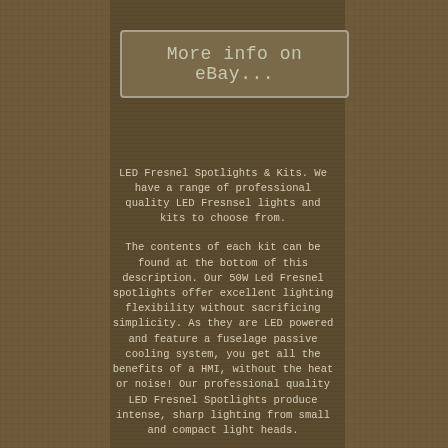[Figure (screenshot): eBay button with text 'More info on eBay...' in a rounded rectangle border]
LED Fresnel Spotlights & Kits. We have a range of professional quality LED Fresnsel lights and kits to choose from.
The contents of each kit can be found at the bottom of this description. Our 50W Led Fresnel spotlights offer excellent lighting flexibility without sacrificing simplicity. As they are LED powered and feature a fuselage passive cooling system, you get all the benefits of a HMI, without the heat or noise! Our professional quality LED Fresnel Spotlights produce intense, sharp lighting from small and compact light heads.
Fuselage Passive Cooling System (No fan) to minimise heat and noise. Space for an umbrella to be installed.
Our 80W Led Fresnel spotlights offer